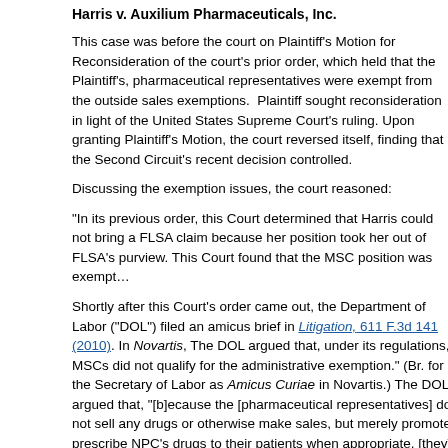Harris v. Auxilium Pharmaceuticals, Inc.
This case was before the court on Plaintiff’s Motion for Reconsideration of the court’s prior order, which held that the Plaintiff’s, pharmaceutical representatives were exempt from the overtime requirements of the outside sales exemptions. Plaintiff sought reconsideration in light of the United States Supreme Court’s ruling. Upon granting Plaintiff’s Motion, the court reversed itself, finding that the Second Circuit’s recent decision controlled.
Discussing the exemption issues, the court reasoned:
“In its previous order, this Court determined that Harris could not bring a FLSA claim because her position took her out of FLSA’s purview. This Court found that the MSC position was exempt…
Shortly after this Court’s order came out, the Department of Labor (“DOL”) filed an amicus brief in In re Novartis Litigation, 611 F.3d 141 (2010). In Novartis, The DOL argued that, under its regulations, MSCs did not qualify for the administrative exemption.” (Br. for the Secretary of Labor as Amicus Curiae in Novartis.) The DOL argued that, “[b]ecause the [pharmaceutical representatives] do not sell any drugs or otherwise make sales, but merely promote prescribe NPC’s drugs to their patients when appropriate, [they] do not meet the outside sales exemption…” (Id. at 10.) Under the administrative exemption, the DOL noted that, although pharma reps may satisfy the salary basis exemption; [the representatives] do not perform any primary duties that are largely centered on formulating management policies, utilizing authority to deviate from established policies, promoting sales…
While this motion for reconsideration was pending at this Court, the Second Circuit held that pharma reps are not salesmen or administrative employees for the purposes of FLSA’s overtime pay provisions, and that the DOL’s interpretations were “entitled to ‘controlling’ deference,” id., under the Supreme Court’s decision in…
After a review of the applicable authority, this Court adopts the reasoning of the Second Circuit as it pertains to FLSA. This Court recognizes that district courts are split on the issue, and that…